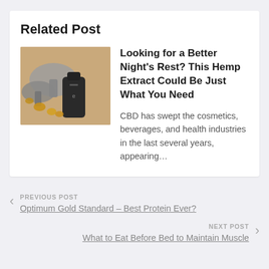Related Post
[Figure (photo): A product photo showing mushrooms, walnuts, and a dark supplement bottle on a tan/brown background]
Looking for a Better Night's Rest? This Hemp Extract Could Be Just What You Need
CBD has swept the cosmetics, beverages, and health industries in the last several years, appearing...
PREVIOUS POST
Optimum Gold Standard – Best Protein Ever?
NEXT POST
What to Eat Before Bed to Maintain Muscle